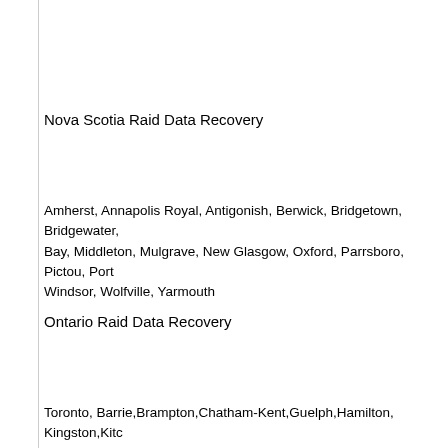Nova Scotia Raid Data Recovery
Amherst, Annapolis Royal, Antigonish, Berwick, Bridgetown, Bridgewater, Bay, Middleton, Mulgrave, New Glasgow, Oxford, Parrsboro, Pictou, Port Windsor, Wolfville, Yarmouth
Ontario Raid Data Recovery
Toronto, Barrie, Brampton, Chatham-Kent, Guelph, Hamilton, Kingston, Kitchener, St. Catherines, Sudbury, Thunder Bay, Timmins, Vaughan, Windsor
Prince Edward Island Raid Data Recovery
Alberton, Bedeque, Borden, Cardigan, Cavendish, Charlottetown, Cornwall, Montague, Morell, Mount Stewart, Murray River, New Haven, New London, Tyne Valley, Vernon River, Wellington